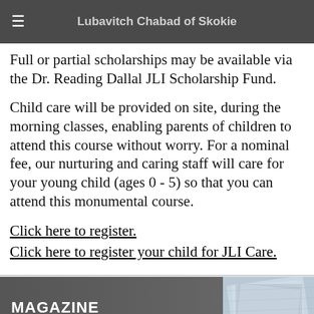Lubavitch Chabad of Skokie
Full or partial scholarships may be available via the Dr. Reading Dallal JLI Scholarship Fund.
Child care will be provided on site, during the morning classes, enabling parents of children to attend this course without worry. For a nominal fee, our nurturing and caring staff will care for your young child (ages 0 - 5) so that you can attend this monumental course.
Click here to register.
Click here to register your child for JLI Care.
[Figure (photo): Magazine section banner with the word MAGAZINE in bold white text on a dark gray background, with a photo of stacked magazines/papers on the right side]